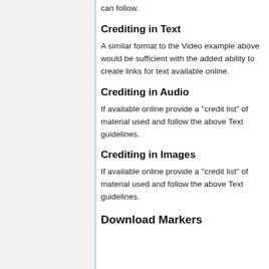can follow.
Crediting in Text
A similar format to the Video example above would be sufficient with the added ability to create links for text available online.
Crediting in Audio
If available online provide a "credit list" of material used and follow the above Text guidelines.
Crediting in Images
If available online provide a "credit list" of material used and follow the above Text guidelines.
Download Markers